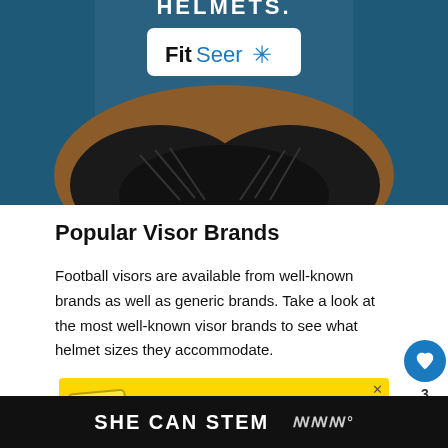[Figure (photo): Football player holding a helmet, wearing black gloves, with a FitSeer logo/badge overlaid on the image]
Popular Visor Brands
Football visors are available from well-known brands as well as generic brands. Take a look at the most well-known visor brands to see what helmet sizes they accommodate.
[Figure (infographic): Advertisement banner: It's okay to question. Now get the facts on COVID-19 vaccines. GetVaccineAnswers.org]
SHE CAN STEM